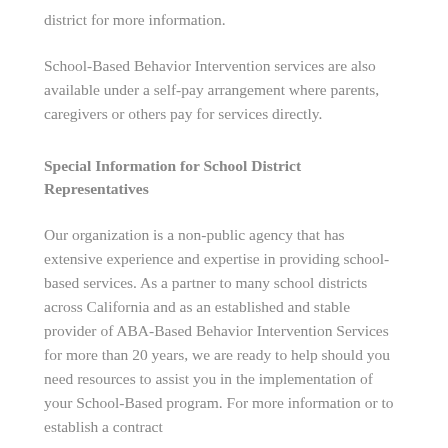district for more information.
School-Based Behavior Intervention services are also available under a self-pay arrangement where parents, caregivers or others pay for services directly.
Special Information for School District Representatives
Our organization is a non-public agency that has extensive experience and expertise in providing school-based services. As a partner to many school districts across California and as an established and stable provider of ABA-Based Behavior Intervention Services for more than 20 years, we are ready to help should you need resources to assist you in the implementation of your School-Based program. For more information or to establish a contract